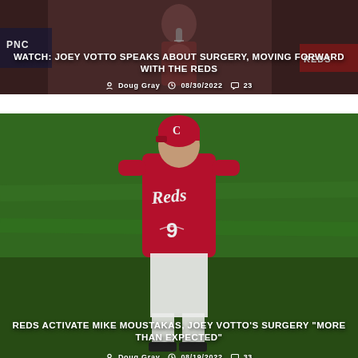[Figure (photo): Joey Votto at a press conference, wearing Reds gear, with PNC and Reds signage visible in background. White text overlay shows article title and metadata.]
WATCH: JOEY VOTTO SPEAKS ABOUT SURGERY, MOVING FORWARD WITH THE REDS
Doug Gray  08/30/2022  23
[Figure (photo): Mike Moustakas wearing Cincinnati Reds red uniform, number 9, standing on field with green grass background. White text overlay shows article title and metadata.]
REDS ACTIVATE MIKE MOUSTAKAS, JOEY VOTTO'S SURGERY "MORE THAN EXPECTED"
Doug Gray  08/19/2022  33